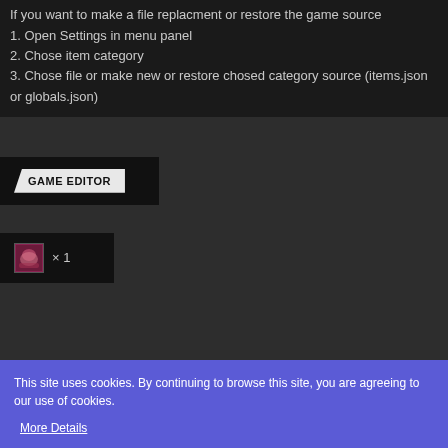If you want to make a file replacment or restore the game source
1. Open Settings in menu panel
2. Chose item category
3. Chose file or make new or restore chosed category source (items.json or globals.json)
[Figure (screenshot): GAME EDITOR button with dark background]
[Figure (screenshot): Inventory item icon with x1 count]
This site uses cookies. By continuing to browse this site, you are agreeing to our use of cookies.
More Details